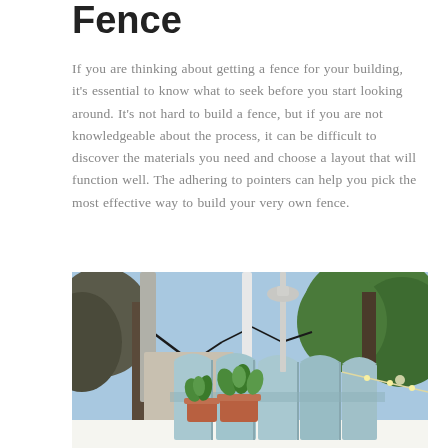Fence
If you are thinking about getting a fence for your building, it's essential to know what to seek before you start looking around. It's not hard to build a fence, but if you are not knowledgeable about the process, it can be difficult to discover the materials you need and choose a layout that will function well. The adhering to pointers can help you pick the most effective way to build your very own fence.
[Figure (photo): Outdoor photo of a light blue picket fence with rounded post tops, two terracotta plant pots with green plants on a white ledge in front, and trees/blue sky in the background.]